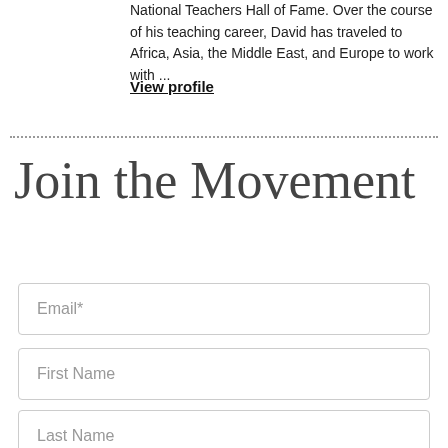National Teachers Hall of Fame. Over the course of his teaching career, David has traveled to Africa, Asia, the Middle East, and Europe to work with ...
View profile
Join the Movement
Email*
First Name
Last Name